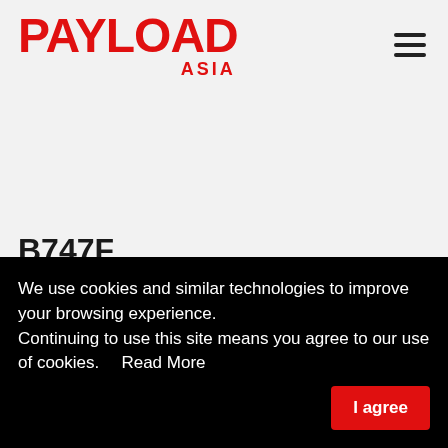PAYLOAD ASIA
B747F
We use cookies and similar technologies to improve your browsing experience.
Continuing to use this site means you agree to our use of cookies.   Read More